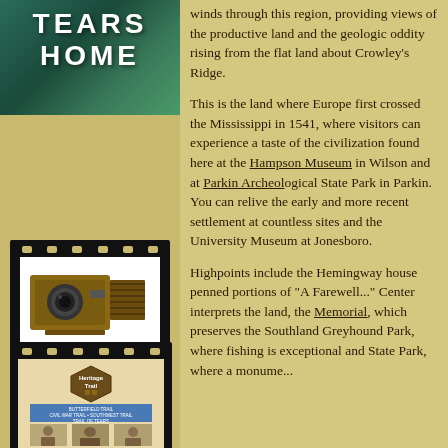TEARS HOME
[Figure (photo): Vintage box camera / bellows camera illustration used as photo gallery icon, displayed on a filmstrip background]
PHOTO GALLERY
[Figure (photo): Heritage Trail brochure cover showing trail guide with historic photos and Heritage Trail logo, displayed on filmstrip background]
BROCHURE
winds through this region, providing views of the productive land and the geologic oddity rising from the flat land about Crowley's Ridge.
This is the land where Europe first crossed the Mississippi in 1541, where visitors can experience a taste of the civilization found here at the Hampson Museum in Wilson and at Parkin Archeological State Park in Parkin. You can relive the early and more recent settlement at countless sites and the University Museum at Jonesboro.
Highpoints include the Hemingway house penned portions of "A Farewell..." Center interprets the land, the Southland Greyhound Park, where fishing is exceptional and State Park, where a monument...